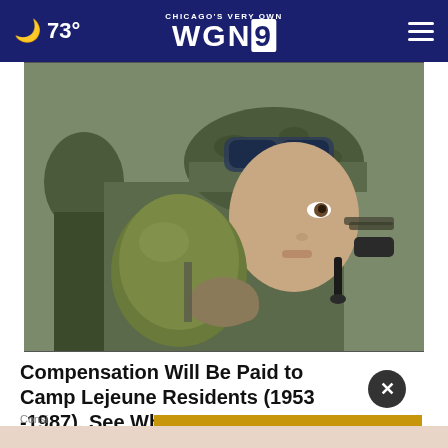🌙 73° | CHICAGO'S VERY OWN WGN9
[Figure (photo): A soldier in camouflage gear and helmet drinking from a military canteen]
Compensation Will Be Paid to Camp Lejeune Residents (1953 -1987). See Why
Const
BUZZED AND DOING SOMETHING TO MAKE YOURSELF OKAY TO DRIVE?